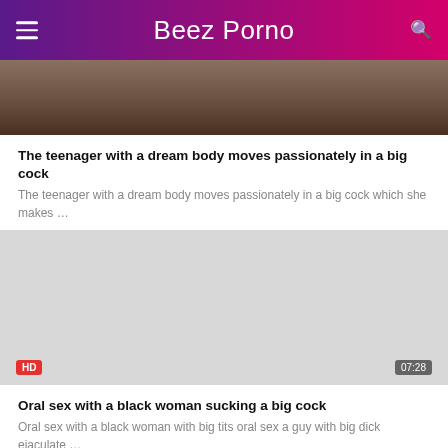Beez Porno
[Figure (photo): Partial thumbnail image of video content, cropped at top]
The teenager with a dream body moves passionately in a big cock
The teenager with a dream body moves passionately in a big cock which she makes …
[Figure (photo): Video thumbnail placeholder with HD badge and 07:28 duration badge]
Oral sex with a black woman sucking a big cock
Oral sex with a black woman with big tits oral sex a guy with big dick ejaculate …